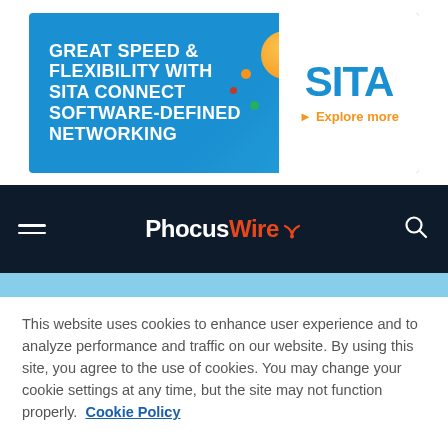[Figure (other): SITA advertisement banner: blue background with white bold text 'GREAT SPEED & FLEXIBILITY WITH SITA CONNECT SOFTWARE-DEFINED NETWORKING', SITA logo in blue on white, 'Explore more' in orange, and decorative spherical orange dot graphic.]
[Figure (screenshot): PhocusWire website navigation bar on dark navy background with hamburger menu icon on left, PhocusWire logo in center (Phocus in white, Wire in orange-red with wifi symbol), and search icon on right.]
[Figure (photo): Photo showing Tiananmen Square gate with traditional Chinese architecture roof and portrait of Mao Zedong on a red wall, with blue sky visible.]
This website uses cookies to enhance user experience and to analyze performance and traffic on our website. By using this site, you agree to the use of cookies. You may change your cookie settings at any time, but the site may not function properly.  Cookie Policy